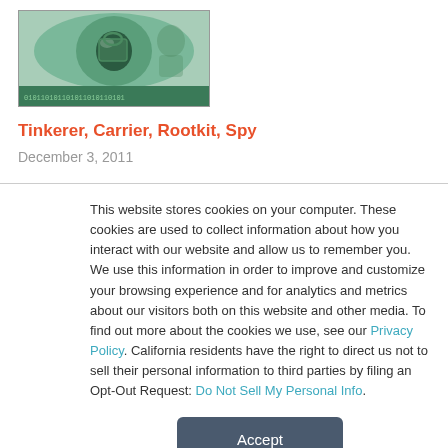[Figure (illustration): Book or magazine cover with a green-tinted surveillance/eye imagery and binary code text at the bottom]
Tinkerer, Carrier, Rootkit, Spy
December 3, 2011
This website stores cookies on your computer. These cookies are used to collect information about how you interact with our website and allow us to remember you. We use this information in order to improve and customize your browsing experience and for analytics and metrics about our visitors both on this website and other media. To find out more about the cookies we use, see our Privacy Policy. California residents have the right to direct us not to sell their personal information to third parties by filing an Opt-Out Request: Do Not Sell My Personal Info.